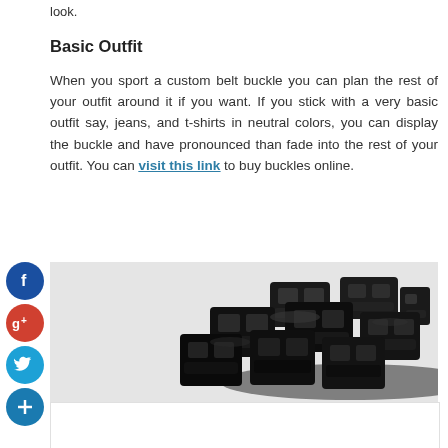look.
Basic Outfit
When you sport a custom belt buckle you can plan the rest of your outfit around it if you want. If you stick with a very basic outfit say, jeans, and t-shirts in neutral colors, you can display the buckle and have pronounced than fade into the rest of your outfit. You can visit this link to buy buckles online.
[Figure (photo): A pile of black plastic belt buckles on a white background]